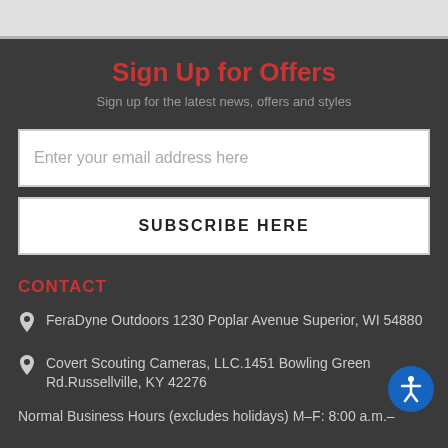Sign Up for Offers
Sign up for the latest news, offers and styles
Enter your email address here
SUBSCRIBE HERE
CONTACT
FeraDyne Outdoors 1230 Poplar Avenue Superior, WI 54880
Covert Scouting Cameras, LLC.1451 Bowling Green Rd.Russellville, KY 42276
Normal Business Hours (excludes holidays) M–F: 8:00 a.m.–